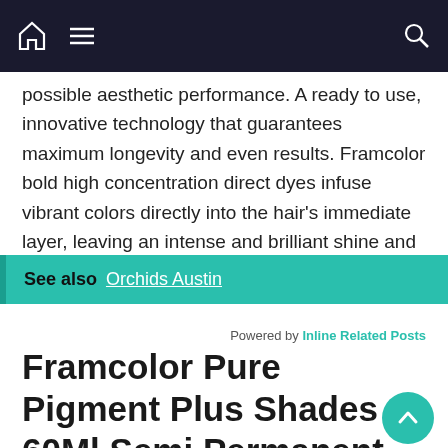Navigation bar with home icon, menu icon, and search icon
possible aesthetic performance. A ready to use, innovative technology that guarantees maximum longevity and even results. Framcolor bold high concentration direct dyes infuse vibrant colors directly into the hair's immediate layer, leaving an intense and brilliant shine and bold hair color.
See also  Orchids Austin
Powered by Inline Related Posts
Framcolor Pure Pigment Plus Shades 60Ml Semi Permanent Hair Color Tube
Framesi bold is a ready to use, innovative technology that guarantees maximum longevity and even results. Framcolor